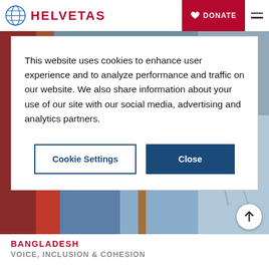HELVETAS | DONATE
This website uses cookies to enhance user experience and to analyze performance and traffic on our website. We also share information about your use of our site with our social media, advertising and analytics partners.
Cookie Settings | Close
[Figure (photo): Photo of people in blue shirts, one holding a wooden stick/cane, partially visible]
BANGLADESH
VOICE, INCLUSION & COHESION